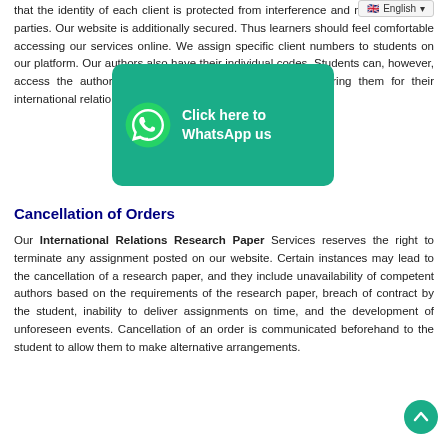that the identity of each client is protected from interference and misuse by third parties. Our website is additionally secured. Thus learners should feel comfortable accessing our services online. We assign specific client numbers to students on our platform. Our authors also have their individual codes. Students can, however, access the authors' profiles to know their skills before hiring them for their international relations homework writing services.
[Figure (infographic): WhatsApp banner: green rounded rectangle with WhatsApp phone icon and text 'Click here to WhatsApp us']
Cancellation of Orders
Our International Relations Research Paper Services reserves the right to terminate any assignment posted on our website. Certain instances may lead to the cancellation of a research paper, and they include unavailability of competent authors based on the requirements of the research paper, breach of contract by the student, inability to deliver assignments on time, and the development of unforeseen events. Cancellation of an order is communicated beforehand to the student to allow them to make alternative arrangements.